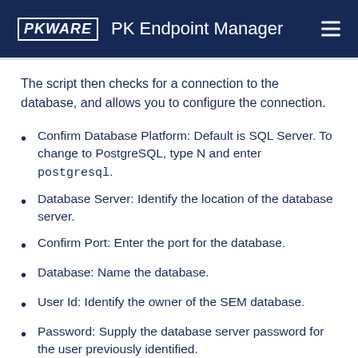PKWARE  PK Endpoint Manager
The script then checks for a connection to the database, and allows you to configure the connection.
Confirm Database Platform: Default is SQL Server. To change to PostgreSQL, type N and enter postgresql.
Database Server: Identify the location of the database server.
Confirm Port: Enter the port for the database.
Database: Name the database.
User Id: Identify the owner of the SEM database.
Password: Supply the database server password for the user previously identified.